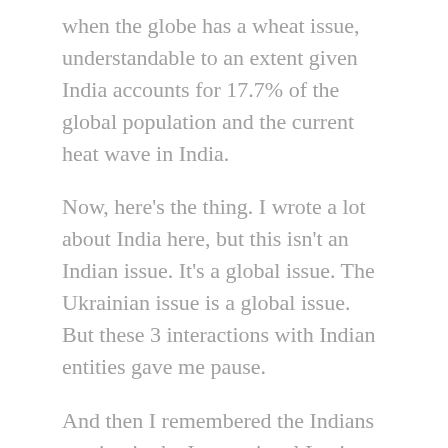when the globe has a wheat issue, understandable to an extent given India accounts for 17.7% of the global population and the current heat wave in India.
Now, here's the thing. I wrote a lot about India here, but this isn't an Indian issue. It's a global issue. The Ukrainian issue is a global issue. But these 3 interactions with Indian entities gave me pause.
And then I remembered the Indians serving in the International Legion of Defense of Ukraine, and it all balanced out.
It's easy to classify people by color, race, culture, region, religion, gender, and whether they think the boiled egg should be opened from the small or large end. It's arguably an evolutionary thing that frees our